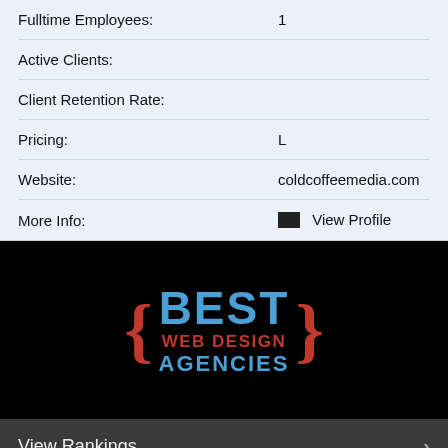| Field | Value |
| --- | --- |
| Fulltime Employees: | 1 |
| Active Clients: |  |
| Client Retention Rate: |  |
| Pricing: | L |
| Website: | coldcoffeemedia.com |
| More Info: | View Profile |
[Figure (logo): Best Web Design Agencies logo with curly braces, 'BEST' in blue, 'WEB DESIGN' in red, 'AGENCIES' in blue, on black background]
View Rankings
Submit Your Company